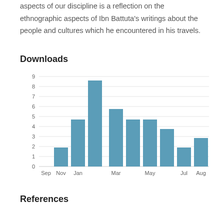aspects of our discipline is a reflection on the ethnographic aspects of Ibn Battuta's writings about the people and cultures which he encountered in his travels.
Downloads
[Figure (bar-chart): Downloads]
References